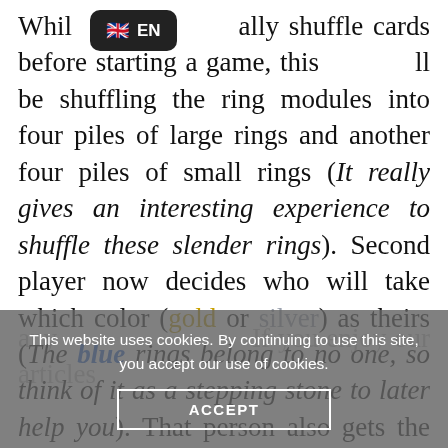While you usually shuffle cards before starting a game, this time you'll be shuffling the ring modules into four piles of large rings and another four piles of small rings (It really gives an interesting experience to shuffle these slender rings). Second player now decides who will take which color (gold or silver) as theirs (The blue rings belong to no one, so think of it as a stepping stone to later help you). That person also gets the privilege to place the purple research tower in any large crater on the game board. That spot will be prohibited from being
This website uses cookies. By continuing to use this site, you accept our use of cookies.
ACCEPT